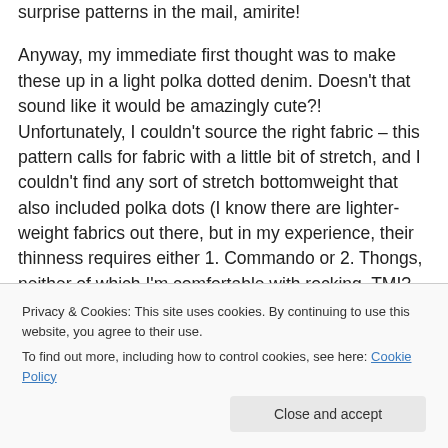surprise patterns in the mail, amirite!

Anyway, my immediate first thought was to make these up in a light polka dotted denim. Doesn't that sound like it would be amazingly cute?! Unfortunately, I couldn't source the right fabric – this pattern calls for fabric with a little bit of stretch, and I couldn't find any sort of stretch bottomweight that also included polka dots (I know there are lighter-weight fabrics out there, but in my experience, their thinness requires either 1. Commando or 2. Thongs, neither of which I'm comfortable with rocking. TMI?
Privacy & Cookies: This site uses cookies. By continuing to use this website, you agree to their use.
To find out more, including how to control cookies, see here: Cookie Policy
Close and accept